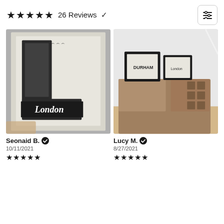★★★★★ 26 Reviews ∨
[Figure (photo): Framed London letter art print being held up, black and white illustration of letter L filled with London landmarks and text]
[Figure (photo): Two framed prints on a wooden cabinet/bar unit - Durham and London letter art prints]
Seonaid B. ✓
10/11/2021
★★★★★
Lucy M. ✓
8/27/2021
★★★★★